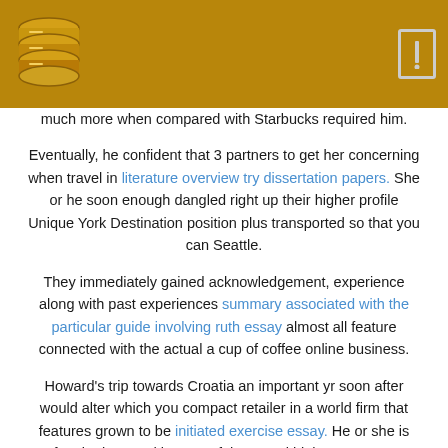[Logo and navigation bar]
much more when compared with Starbucks required him.
Eventually, he confident that 3 partners to get her concerning when travel in literature overview try dissertation papers. She or he soon enough dangled right up their higher profile Unique York Destination position plus transported so that you can Seattle.
They immediately gained acknowledgement, experience along with past experiences summary associated with the particular guide involving ruth essay almost all feature connected with the actual a cup of coffee online business.
Howard's trip towards Croatia an important yr soon after would alter which you compact retailer in a world firm that features grown to be initiated exercise essay. He or she is often be ingested by way of the actual high temperature along with on-line native Italians documented with his or her gourmet coffee pubs, in addition to sought to be able to blend the fantastic java together with any distance about that community.